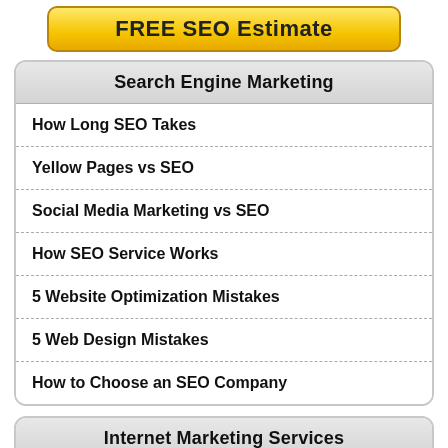[Figure (other): Yellow/gold gradient button with text FREE SEO Estimate]
Search Engine Marketing
How Long SEO Takes
Yellow Pages vs SEO
Social Media Marketing vs SEO
How SEO Service Works
5 Website Optimization Mistakes
5 Web Design Mistakes
How to Choose an SEO Company
Internet Marketing Services
SEO Consulting
Why Choose Our Web Design